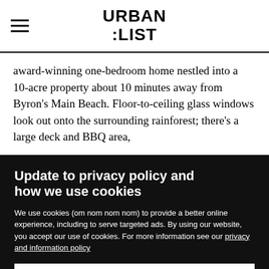URBAN LIST
award-winning one-bedroom home nestled into a 10-acre property about 10 minutes away from Byron's Main Beach. Floor-to-ceiling glass windows look out onto the surrounding rainforest; there's a large deck and BBQ area,
Update to privacy policy and how we use cookies
We use cookies (om nom nom nom) to provide a better online experience, including to serve targeted ads. By using our website, you accept our use of cookies. For more information see our privacy and information policy
ACCEPT